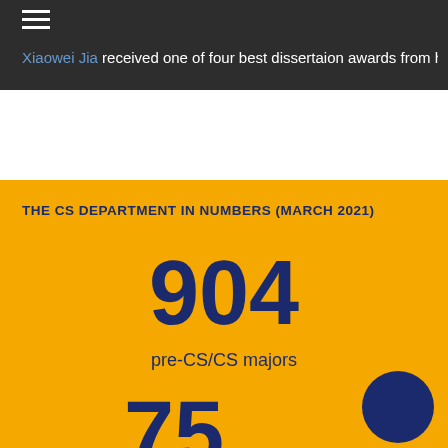Xiaowei Jia received one of four best dissertaion awards from his
THE CS DEPARTMENT IN NUMBERS (MARCH 2021)
904
pre-CS/CS majors
75